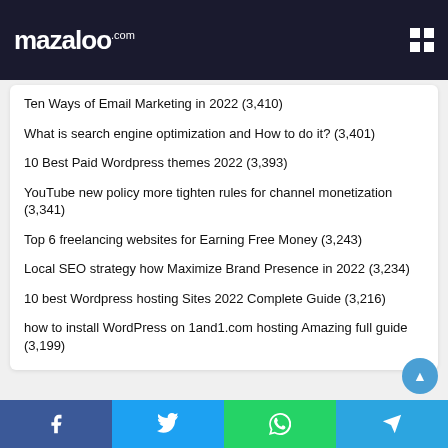mazaloo.com
Ten Ways of Email Marketing in 2022 (3,410)
What is search engine optimization and How to do it? (3,401)
10 Best Paid Wordpress themes 2022 (3,393)
YouTube new policy more tighten rules for channel monetization (3,341)
Top 6 freelancing websites for Earning Free Money (3,243)
Local SEO strategy how Maximize Brand Presence in 2022 (3,234)
10 best Wordpress hosting Sites 2022 Complete Guide (3,216)
how to install WordPress on 1and1.com hosting Amazing full guide (3,199)
Facebook | Twitter | WhatsApp | Telegram